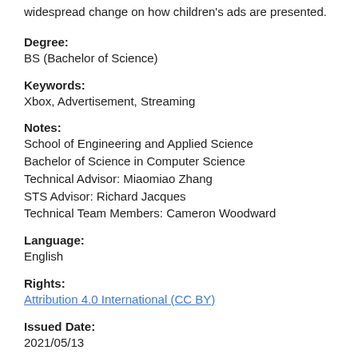widespread change on how children's ads are presented.
Degree:
BS (Bachelor of Science)
Keywords:
Xbox, Advertisement, Streaming
Notes:
School of Engineering and Applied Science
Bachelor of Science in Computer Science
Technical Advisor: Miaomiao Zhang
STS Advisor: Richard Jacques
Technical Team Members: Cameron Woodward
Language:
English
Rights:
Attribution 4.0 International (CC BY)
Issued Date:
2021/05/13
Persistent Link: